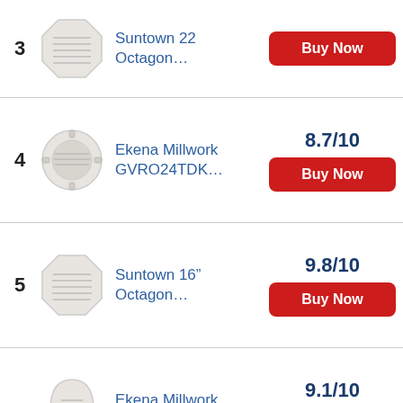3 Suntown 22 Octagon...
4 Ekena Millwork GVRO24TDK... 8.7/10
5 Suntown 16" Octagon... 9.8/10
6 Ekena Millwork GVCA12X24F... 9.1/10